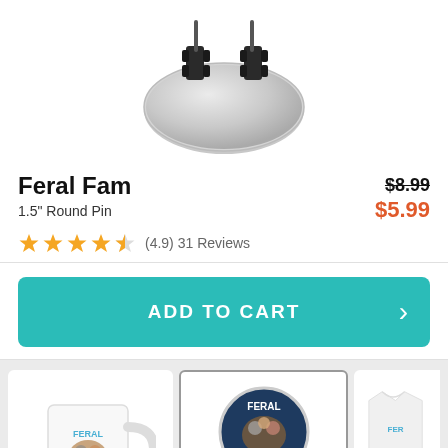[Figure (photo): Back of a round silver pin with two black butterfly clutch fasteners, shown from below against white background]
Feral Fam
1.5" Round Pin
(4.9) 31 Reviews
$8.99 $5.99
ADD TO CART
[Figure (photo): White ceramic mug with Feral Fam cartoon character artwork printed on it]
[Figure (photo): Round pin with Feral Fam artwork on dark navy background, shown from front with butterfly clutch fasteners visible below]
[Figure (photo): Partially visible white t-shirt with Feral Fam text and artwork, cropped at right edge]